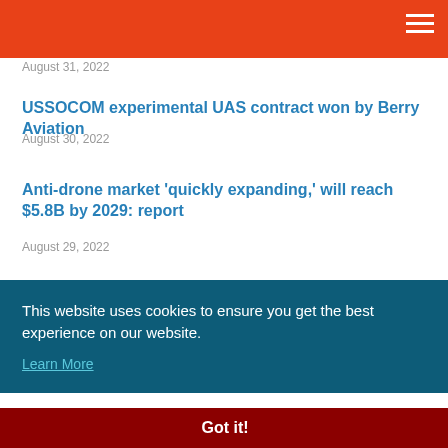August 31, 2022
USSOCOM experimental UAS contract won by Berry Aviation
August 30, 2022
Anti-drone market 'quickly expanding,' will reach $5.8B by 2029: report
August 29, 2022
hase 2
This website uses cookies to ensure you get the best experience on our website.
Learn More
Got it!